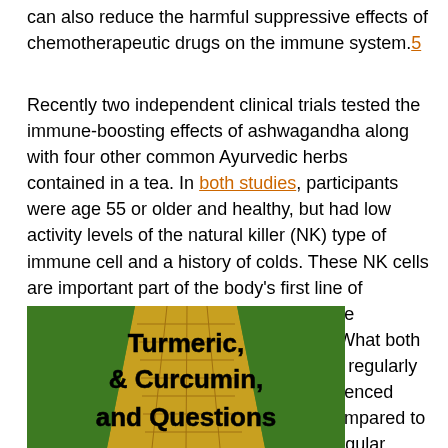can also reduce the harmful suppressive effects of chemotherapeutic drugs on the immune system.5
Recently two independent clinical trials tested the immune-boosting effects of ashwagandha along with four other common Ayurvedic herbs contained in a tea. In both studies, participants were age 55 or older and healthy, but had low activity levels of the natural killer (NK) type of immune cell and a history of colds. These NK cells are important part of the body's first line of defense against microbes that can cause diseases such as colds and infections. What both of these studies found is that those who regularly consumed the herbal-fortified tea experienced increased NK immune cell activity as compared to those participants who consumed the regular, non-fortified tea.53
[Figure (photo): Photo of a yellow brick road with text overlay reading 'Turmeric, & Curcumin, and Questions' in bold black font on a background of green grass and golden bricks.]